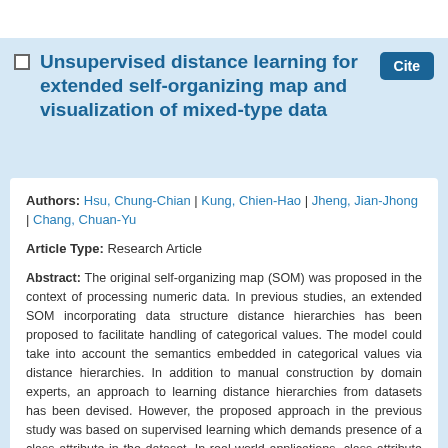Unsupervised distance learning for extended self-organizing map and visualization of mixed-type data
Authors: Hsu, Chung-Chian | Kung, Chien-Hao | Jheng, Jian-Jhong | Chang, Chuan-Yu
Article Type: Research Article
Abstract: The original self-organizing map (SOM) was proposed in the context of processing numeric data. In previous studies, an extended SOM incorporating data structure distance hierarchies has been proposed to facilitate handling of categorical values. The model could take into account the semantics embedded in categorical values via distance hierarchies. In addition to manual construction by domain experts, an approach to learning distance hierarchies from datasets has been devised. However, the proposed approach in the previous study was based on supervised learning which demands presence of a class attribute in the dataset. In real-world applications, class attribute may not be available. ... Show more